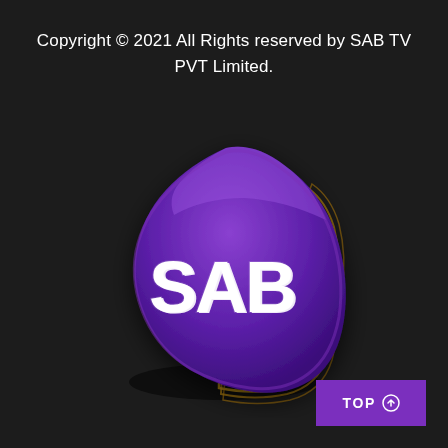Copyright © 2021 All Rights reserved by SAB TV PVT Limited.
[Figure (logo): SAB TV logo - a 3D purple rounded triangle shape with gold/orange stripe accents on the edges, white bold text 'SAB' in the center, with a glossy finish and layered depth effect]
TOP ↑